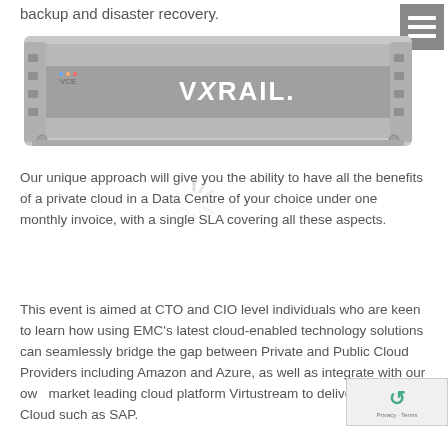backup and disaster recovery.
[Figure (photo): A rack-mounted server unit labeled 'VCE' and 'VXRAIL.' on its front panel, shown in gray tones.]
Our unique approach will give you the ability to have all the benefits of a private cloud in a Data Centre of your choice under one monthly invoice, with a single SLA covering all these aspects.
This event is aimed at CTO and CIO level individuals who are keen to learn how using EMC's latest cloud-enabled technology solutions can seamlessly bridge the gap between Private and Public Cloud Providers including Amazon and Azure, as well as integrate with our own market leading cloud platform Virtustream to deliver Enterprise Cloud such as SAP.